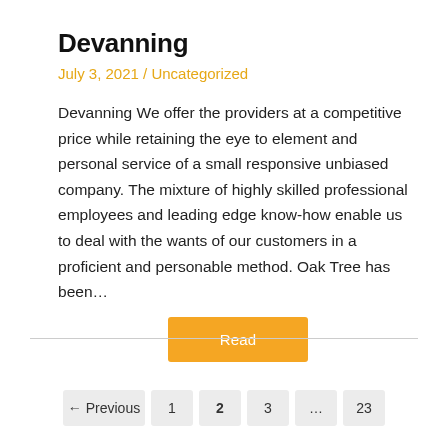Devanning
July 3, 2021 / Uncategorized
Devanning We offer the providers at a competitive price while retaining the eye to element and personal service of a small responsive unbiased company. The mixture of highly skilled professional employees and leading edge know-how enable us to deal with the wants of our customers in a proficient and personable method. Oak Tree has been…
Read
← Previous  1  2  3  …  23